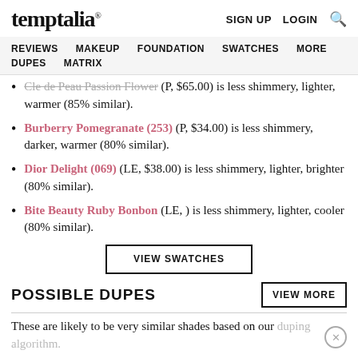temptalia® | SIGN UP  LOGIN  🔍
REVIEWS  MAKEUP  FOUNDATION  SWATCHES  MORE  DUPES  MATRIX
Cle de Peau Passion Flower (P, $65.00) is less shimmery, lighter, warmer (85% similar).
Burberry Pomegranate (253) (P, $34.00) is less shimmery, darker, warmer (80% similar).
Dior Delight (069) (LE, $38.00) is less shimmery, lighter, brighter (80% similar).
Bite Beauty Ruby Bonbon (LE, ) is less shimmery, lighter, cooler (80% similar).
VIEW SWATCHES
POSSIBLE DUPES
These are likely to be very similar shades based on our duping algorithm.
Revlon Gentlemen Prefer Pink (P, $8.49)